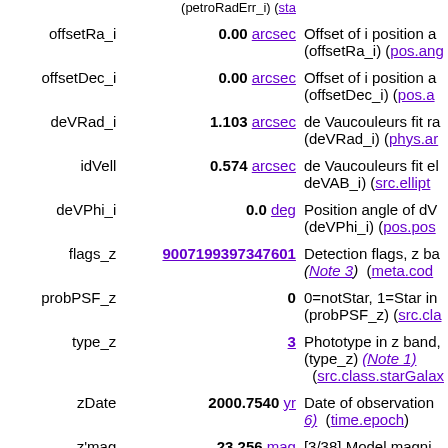| Name | Value | Description |
| --- | --- | --- |
| offsetRa_i | 0.00 arcsec | Offset of i position a... (offsetRa_i) (pos.ang... |
| offsetDec_i | 0.00 arcsec | Offset of i position a... (offsetDec_i) (pos.a... |
| deVRad_i | 1.103 arcsec | de Vaucouleurs fit ra... (deVRad_i) (phys.ar... |
| idVell | 0.574 arcsec | de Vaucouleurs fit el... deVAB_i) (src.ellipt... |
| deVPhi_i | 0.0 deg | Position angle of dV... (deVPhi_i) (pos.pos... |
| flags_z | 9007199397347601 | Detection flags, z ba... (Note 3) (meta.cod... |
| probPSF_z | 0 | 0=notStar, 1=Star in... (probPSF_z) (src.cla... |
| type_z | 3 | Phototype in z band,... (type_z) (Note 1) (src.class.starGalax... |
| zDate | 2000.7540 yr | Date of observation... 6) (time.epoch) |
| z'mag | 23.256 mag | [3/38] Model magni... (= zmag) (Note 5) (phot.mag;em.opt.... |